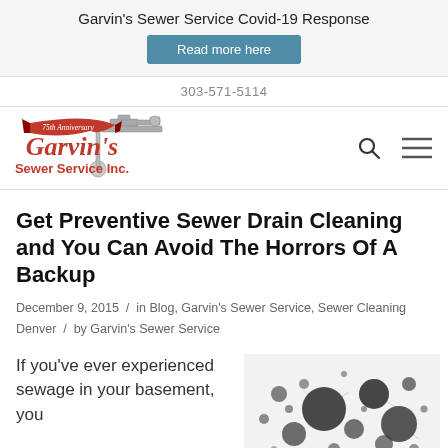Garvin's Sewer Service Covid-19 Response
Read more here
303-571-5114
[Figure (logo): Garvin's Sewer Service Inc. 75th Anniversary logo with red banner and pipe fittings]
Get Preventive Sewer Drain Cleaning and You Can Avoid The Horrors Of A Backup
December 9, 2015 / in Blog, Garvin's Sewer Service, Sewer Cleaning Denver / by Garvin's Sewer Service
If you've ever experienced sewage in your basement, you
[Figure (photo): Close-up image of mold or bacteria spores on a white background]